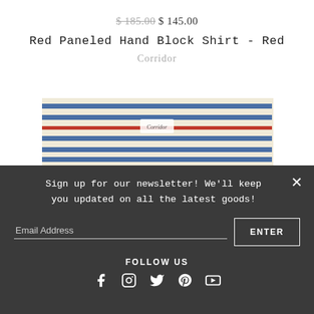$ 185.00  $ 145.00
Red Paneled Hand Block Shirt - Red
Corridor
[Figure (photo): Top portion of a striped red, blue and cream shirt with a Corridor label visible at the collar.]
Sign up for our newsletter! We'll keep you updated on all the latest goods!
Email Address
ENTER
FOLLOW US
[Figure (other): Social media icons: Facebook, Instagram, Twitter, Pinterest, YouTube]